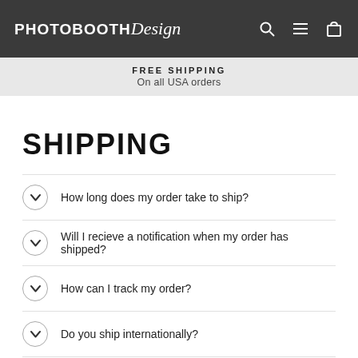PHOTOBOOTH Design
FREE SHIPPING
On all USA orders
SHIPPING
How long does my order take to ship?
Will I recieve a notification when my order has shipped?
How can I track my order?
Do you ship internationally?